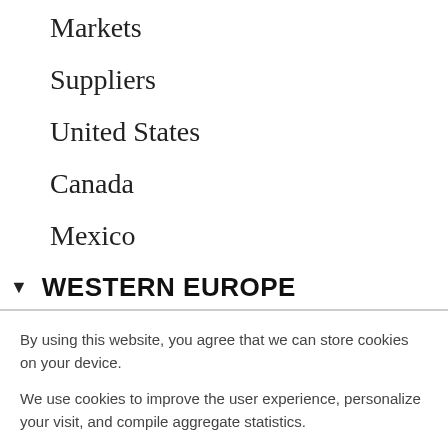Markets
Suppliers
United States
Canada
Mexico
▼ WESTERN EUROPE
By using this website, you agree that we can store cookies on your device.
We use cookies to improve the user experience, personalize your visit, and compile aggregate statistics.
More information can be found in our Privacy Policy.
Accept | Decline